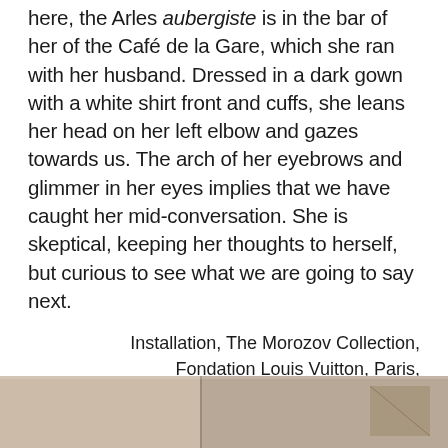here, the Arles aubergiste is in the bar of her of the Café de la Gare, which she ran with her husband. Dressed in a dark gown with a white shirt front and cuffs, she leans her head on her left elbow and gazes towards us. The arch of her eyebrows and glimmer in her eyes implies that we have caught her mid-conversation. She is skeptical, keeping her thoughts to herself, but curious to see what we are going to say next.
Installation, The Morozov Collection, Fondation Louis Vuitton, Paris, Personal Photo
[Figure (photo): Partial view of an installation photo at the bottom of the page, showing a beige/tan wall and ceiling corner.]